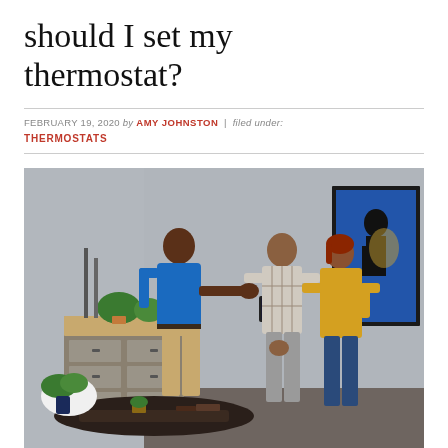should I set my thermostat?
FEBRUARY 19, 2020 by AMY JOHNSTON | filed under:
THERMOSTATS
[Figure (photo): A HVAC technician in a blue shirt gestures toward a thermostat on a gray wall while talking to a couple (a man in a plaid shirt and a woman in a yellow shirt) in a home interior with a framed jazz poster and industrial storage cabinet.]